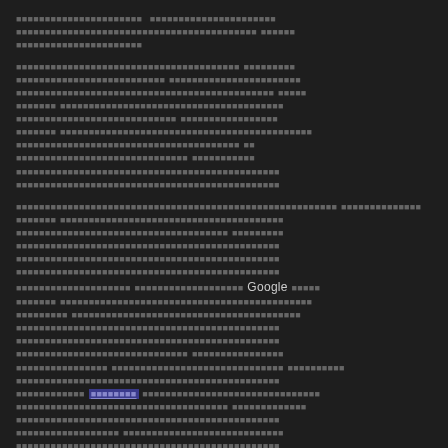[redacted Thai/obscured text block with Google mention and a hyperlink]